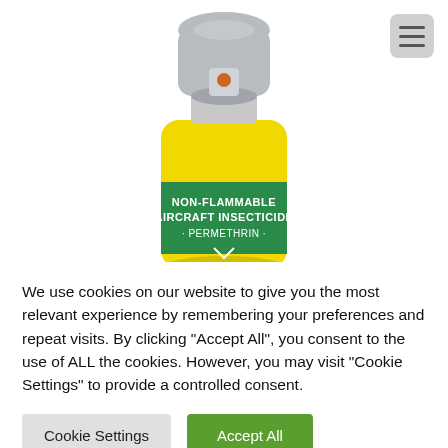[Figure (photo): A yellow spray can with a silver/grey pump top, featuring a green label that reads 'NON-FLAMMABLE AIRCRAFT INSECTICIDE · PERMETHRIN ·'. The can has an orange dot on the pump nozzle area.]
We use cookies on our website to give you the most relevant experience by remembering your preferences and repeat visits. By clicking "Accept All", you consent to the use of ALL the cookies. However, you may visit "Cookie Settings" to provide a controlled consent.
Cookie Settings
Accept All